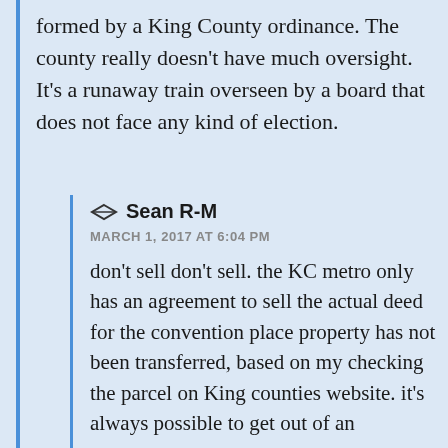formed by a King County ordinance. The county really doesn't have much oversight. It's a runaway train overseen by a board that does not face any kind of election.
Sean R-M
MARCH 1, 2017 AT 6:04 PM
don't sell don't sell. the KC metro only has an agreement to sell the actual deed for the convention place property has not been transferred, based on my checking the parcel on King counties website. it's always possible to get out of an agreement,